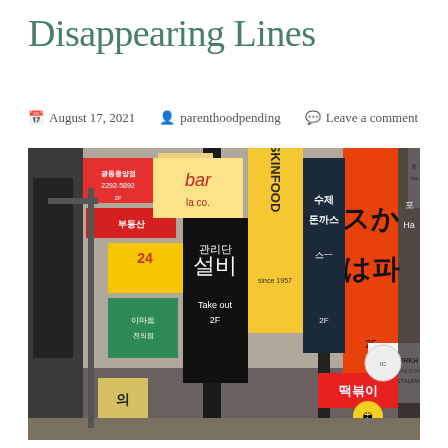Disappearing Lines
📅 August 17, 2021   👤 parenthoodpending   💬 Leave a comment
[Figure (photo): Busy Korean street scene densely packed with colorful vertical signs in Korean and English, including signs for SKINFOOD, Gurkha Indian Restaurant, 설비 (Take out 2F), LE PIAN, 수제 돈까스, 떡볶이, and many others. Vibrant reds, yellows, blacks, and oranges dominate the signage.]